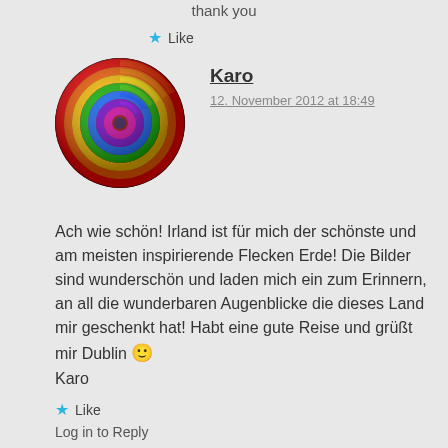thank you
★ Like
[Figure (illustration): Circular avatar with rainbow swirl pattern in red, orange, yellow, green, blue, purple colors]
Karo
12. November 2012 at 18:49
Ach wie schön! Irland ist für mich der schönste und am meisten inspirierende Flecken Erde! Die Bilder sind wunderschön und laden mich ein zum Erinnern, an all die wunderbaren Augenblicke die dieses Land mir geschenkt hat! Habt eine gute Reise und grüßt mir Dublin 🙂
Karo
★ Like
Log in to Reply